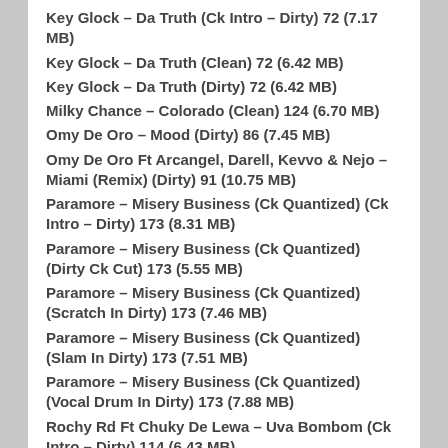Key Glock – Da Truth (Ck Intro – Dirty) 72 (7.17 MB)
Key Glock – Da Truth (Clean) 72 (6.42 MB)
Key Glock – Da Truth (Dirty) 72 (6.42 MB)
Milky Chance – Colorado (Clean) 124 (6.70 MB)
Omy De Oro – Mood (Dirty) 86 (7.45 MB)
Omy De Oro Ft Arcangel, Darell, Kevvo & Nejo – Miami (Remix) (Dirty) 91 (10.75 MB)
Paramore – Misery Business (Ck Quantized) (Ck Intro – Dirty) 173 (8.31 MB)
Paramore – Misery Business (Ck Quantized) (Dirty Ck Cut) 173 (5.55 MB)
Paramore – Misery Business (Ck Quantized) (Scratch In Dirty) 173 (7.46 MB)
Paramore – Misery Business (Ck Quantized) (Slam In Dirty) 173 (7.51 MB)
Paramore – Misery Business (Ck Quantized) (Vocal Drum In Dirty) 173 (7.88 MB)
Rochy Rd Ft Chuky De Lewa – Uva Bombom (Ck Intro – Dirty) 114 (6.43 MB)
Rochy Rd Ft Chuky De Lewa – Uva Bombom (Dirty) 114